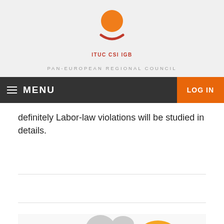[Figure (logo): ITUC CSI IGB logo — orange circle above a red curved arc/smile shape, with text 'ITUC CSI IGB' in red below]
PAN-EUROPEAN REGIONAL COUNCIL
MENU | LOG IN
definitely Labor-law violations will be studied in details.
[Figure (map): Partial world map showing countries colored in yellow, orange, and gray, cropped at bottom of page]